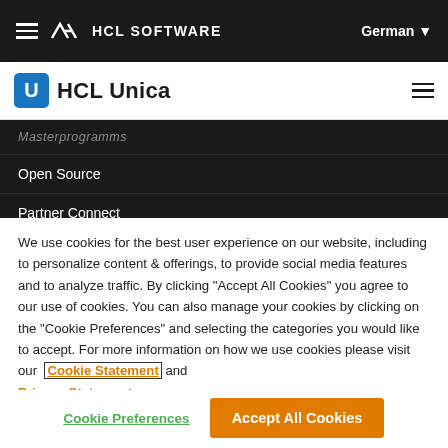HCL SOFTWARE   German ▼
[Figure (logo): HCL Unica logo with blue speech bubble icon and text 'HCL Unica']
Open Source
Partner Connect
We use cookies for the best user experience on our website, including to personalize content & offerings, to provide social media features and to analyze traffic. By clicking "Accept All Cookies" you agree to our use of cookies. You can also manage your cookies by clicking on the "Cookie Preferences" and selecting the categories you would like to accept. For more information on how we use cookies please visit our Cookie Statement and Privacy Statement